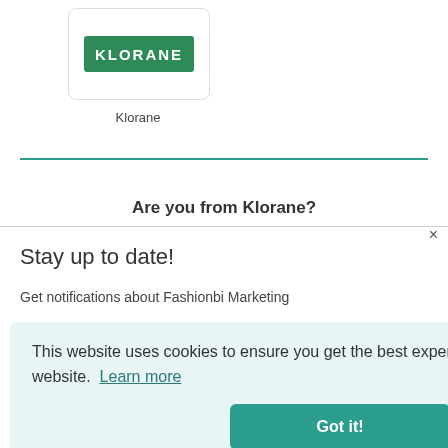[Figure (logo): Klorane brand logo: white card with green rectangle containing white bold text 'KLORANE']
Klorane
Are you from Klorane?
Stay up to date!
Get notifications about Fashionbi Marketing
This website uses cookies to ensure you get the best experience on our website. Learn more
Got it!